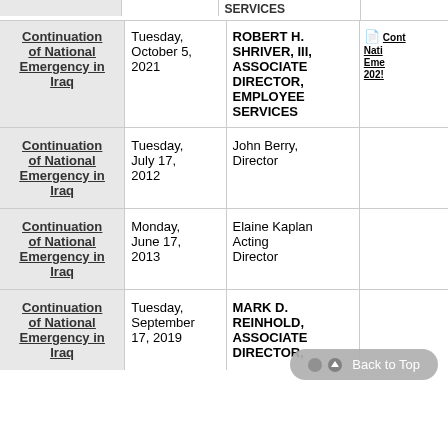| Notice | Date | Signed By | Related Documents |
| --- | --- | --- | --- |
| Continuation of National Emergency in Iraq | Tuesday, October 5, 2021 | ROBERT H. SHRIVER, III, ASSOCIATE DIRECTOR, EMPLOYEE SERVICES | Continuation of National Emergency 2021... |
| Continuation of National Emergency in Iraq | Tuesday, July 17, 2012 | John Berry, Director |  |
| Continuation of National Emergency in Iraq | Monday, June 17, 2013 | Elaine Kaplan Acting Director |  |
| Continuation of National Emergency in Iraq | Tuesday, September 17, 2019 | MARK D. REINHOLD, ASSOCIATE DIRECTOR, |  |